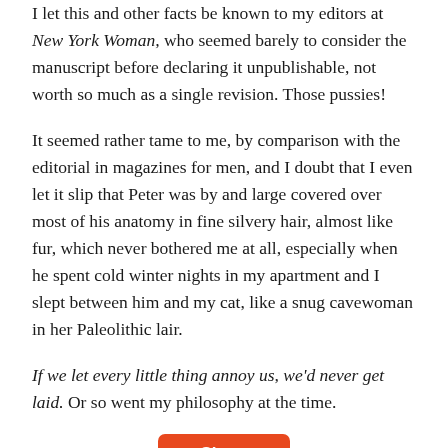I let this and other facts be known to my editors at New York Woman, who seemed barely to consider the manuscript before declaring it unpublishable, not worth so much as a single revision. Those pussies!
It seemed rather tame to me, by comparison with the editorial in magazines for men, and I doubt that I even let it slip that Peter was by and large covered over most of his anatomy in fine silvery hair, almost like fur, which never bothered me at all, especially when he spent cold winter nights in my apartment and I slept between him and my cat, like a snug cavewoman in her Paleolithic lair.
If we let every little thing annoy us, we'd never get laid. Or so went my philosophy at the time.
[Figure (other): Orange 'Share' button]